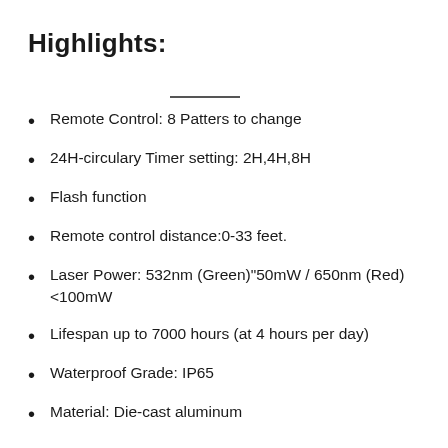Highlights:
Remote Control: 8 Patters to change
24H-circulary Timer setting: 2H,4H,8H
Flash function
Remote control distance:0-33 feet.
Laser Power: 532nm (Green)≤50mW / 650nm (Red)<100mW
Lifespan up to 7000 hours (at 4 hours per day)
Waterproof Grade: IP65
Material: Die-cast aluminum